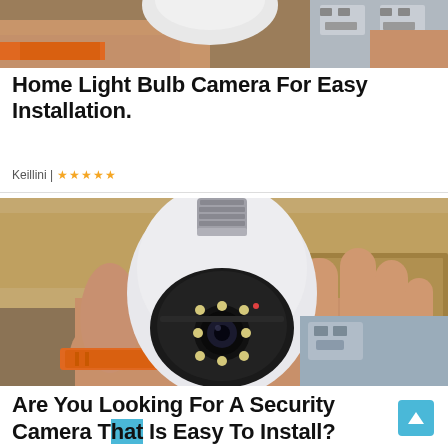[Figure (photo): Top portion of a hand holding a white light bulb security camera, with orange watch strap visible and electrical sockets in background. Cropped at top of page.]
Home Light Bulb Camera For Easy Installation.
Keillini | ★★★★★
[Figure (photo): A hand holding a white light bulb-shaped security camera with a rotating gimbal head, black lens ring with LED lights, and metallic screw base. Orange watch strap visible. Background shows cardboard boxes and electrical sockets.]
Are You Looking For A Security Camera That Is Easy To Install?